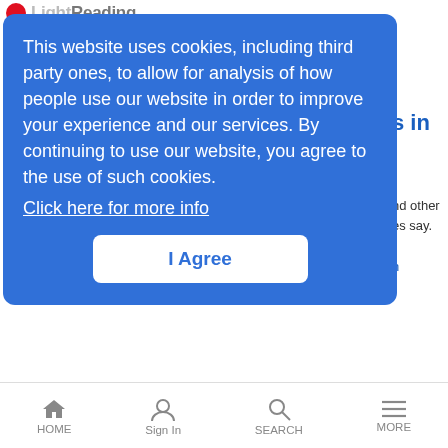Light Reading
This website uses cookies, including third party ones, to allow for analysis of how people use our website in order to improve your experience and our services. By continuing to use our website, you agree to the use of such cookies. Click here for more info
I Agree
Also in today's EMEA regional roundup: Telenor plans Trondheim IoT lab; cooperation at the mobile edge; Nokia ups its mission-critical LTE game.
Laying the Tech Foundation for Digital Transformation
Column | 9/25/2017
HOME  Sign In  SEARCH  MORE